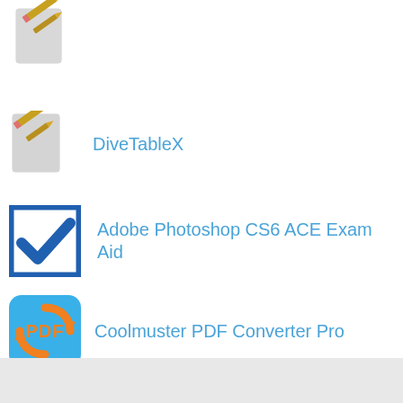[Figure (illustration): App icon: pencil/document sketch icon (partially cropped at top)]
DiveTableX
[Figure (illustration): App icon: pencil/document sketch icon]
Adobe Photoshop CS6 ACE Exam Aid
[Figure (illustration): App icon: blue border checkbox with blue checkmark]
Coolmuster PDF Converter Pro
[Figure (illustration): App icon: blue rounded square with PDF text and orange circular arrows]
Sounds4Fun
[Figure (illustration): App icon: pencil/document sketch icon]